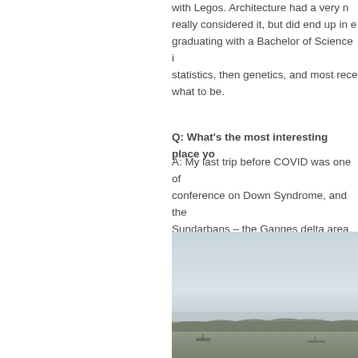with Legos. Architecture had a very n... really considered it, but did end up in e... graduating with a Bachelor of Science i... statistics, then genetics, and most rece... what to be.
Q: What's the most interesting place yo...
A: My last trip before COVID was one of... conference on Down Syndrome, and the... Sundarbans – the Ganges delta area. It... (including human living arrangements),... chance to see a little of it.
[Figure (photo): A photograph showing a wide flat landscape or river delta area with a hazy sky, likely the Sundarbans or Ganges delta region.]